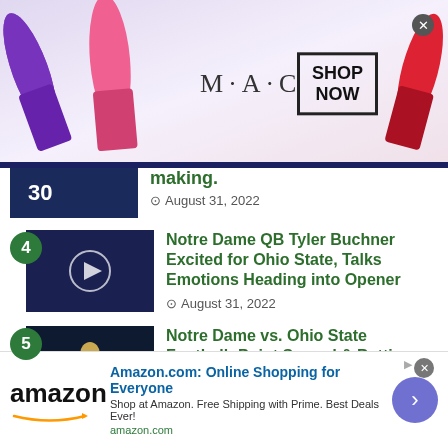[Figure (other): MAC Cosmetics advertisement banner with lipsticks and SHOP NOW box]
making.
August 31, 2022
Notre Dame QB Tyler Buchner Excited for Ohio State, Talks Emotions Heading into Opener
August 31, 2022
Notre Dame vs. Ohio State Football: Point Spread & Betting Odds for Week 1
August 30, 2022
NEVER MISS AN UPDATE
[Figure (other): Amazon advertisement banner]